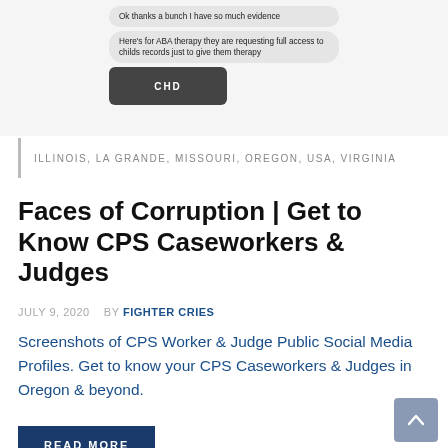[Figure (screenshot): Screenshot of chat messages with text bubbles: 'Ok thanks a bunch I have so much evidence' and 'Here's for ABA therapy they are requesting full access to childs records just to give them therapy', along with an image thumbnail showing 'CHD' text.]
ILLINOIS, LA GRANDE, MISSOURI, OREGON, USA, VIRGINIA
Faces of Corruption | Get to Know CPS Caseworkers & Judges
JULY 9, 2020   BY FIGHTER CRIES
Screenshots of CPS Worker & Judge Public Social Media Profiles. Get to know your CPS Caseworkers & Judges in Oregon & beyond.
READ MORE